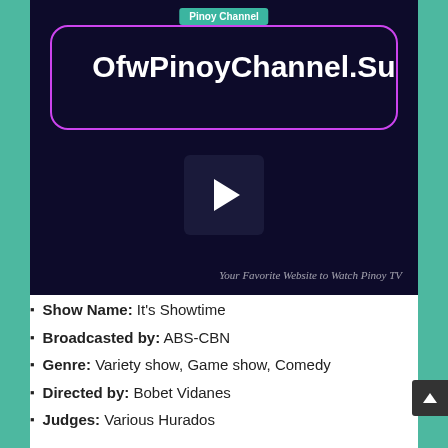[Figure (screenshot): Video player with dark purple/navy background showing OfwPinoyChannel.Su website screenshot. Contains a 'Pinoy Channel' teal badge at top center, a purple rounded-rectangle border outline, large white bold text 'OfwPinoyChannel.Su', a dark play button square with white triangle in center, and tagline 'Your Favorite Website to Watch Pinoy TV' in bottom right.]
Show Name: It's Showtime
Broadcasted by: ABS-CBN
Genre: Variety show, Game show, Comedy
Directed by: Bobet Vidanes
Judges: Various Hurados